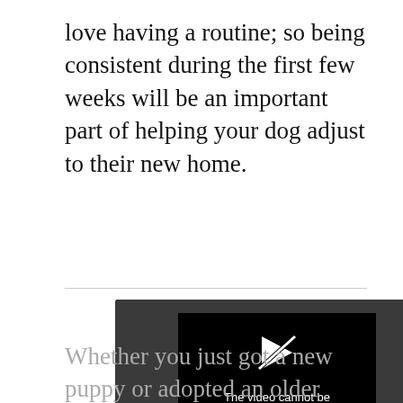love having a routine; so being consistent during the first few weeks will be an important part of helping your dog adjust to their new home.
[Figure (screenshot): Video player showing error: 'The video cannot be played in this browser. (Error Code: 242632)']
Whether you just got a new puppy or adopted an older dog, you can expect